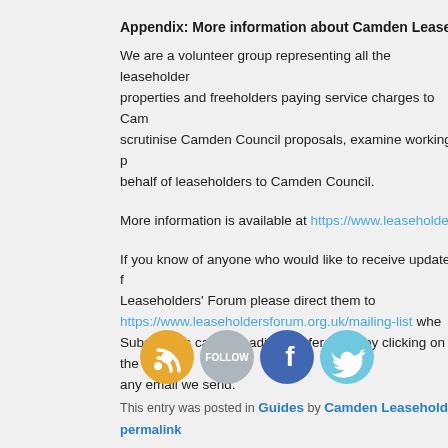Appendix: More information about Camden Leaseholders'
We are a volunteer group representing all the leaseholders in properties and freeholders paying service charges to Camden. We scrutinise Camden Council proposals, examine working p... behalf of leaseholders to Camden Council.
More information is available at https://www.leaseholders...
If you know of anyone who would like to receive updates from the Leaseholders' Forum please direct them to https://www.leaseholdersforum.org.uk/mailing-list where... Subscribers can also adjust preferences by clicking on the... any email we send.
[Figure (infographic): Four social media icons: RSS (orange), Follow/WordPress (grey), Facebook (blue), Twitter (light blue)]
This entry was posted in Guides by Camden Leaseholders' permalink